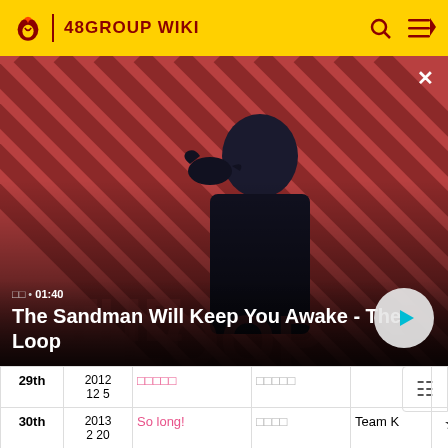48GROUP WIKI
[Figure (screenshot): Video banner showing a gothic figure with a raven, red-and-black diagonal stripe background, with title 'The Sandman Will Keep You Awake - The Loop', timestamp 01:40, and a play button]
The Sandman Will Keep You Awake - The Loop
|  | Date | Song | Member | Team |  |
| --- | --- | --- | --- | --- | --- |
| 29th | 2012 12 5 | □□□□□ | □□□□□ |  |  |
| 30th | 2013 2 20 | So long! | □□□□ | Team K | ★ |